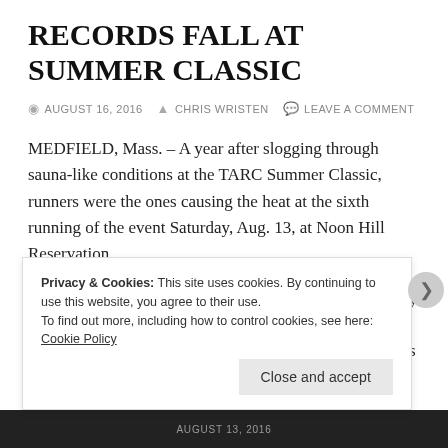RECORDS FALL AT SUMMER CLASSIC
AUGUST 16, 2016  CHRIS WRISTEN  LEAVE A COMMENT
MEDFIELD, Mass. – A year after slogging through sauna-like conditions at the TARC Summer Classic, runners were the ones causing the heat at the sixth running of the event Saturday, Aug. 13, at Noon Hill Reservation.
Gone were the 91-degree temperature and thick humidity of 2015. In their place, temperatures in the 70s, a gentle breeze, and dry trails created ideal conditions for runners to scorch the smooth, winding dirt and pine needle-covered
Privacy & Cookies: This site uses cookies. By continuing to use this website, you agree to their use.
To find out more, including how to control cookies, see here: Cookie Policy
Close and accept
AUGUST 13, 2016